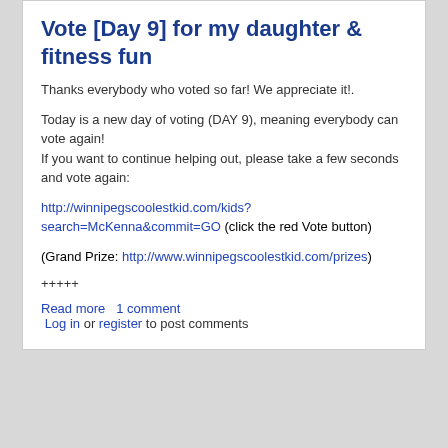Vote [Day 9] for my daughter &amp; fitness fun
Thanks everybody who voted so far! We appreciate it!.
Today is a new day of voting (DAY 9), meaning everybody can vote again!
If you want to continue helping out, please take a few seconds and vote again:
http://winnipegscoolestkid.com/kids?search=McKenna&commit=GO (click the red Vote button)
(Grand Prize: http://www.winnipegscoolestkid.com/prizes)
+++++
Read more    1 comment
 Log in or register to post comments